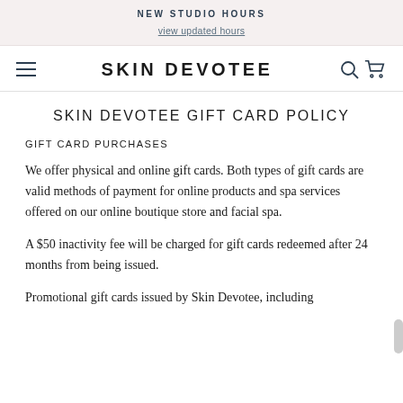NEW STUDIO HOURS
view updated hours
SKIN DEVOTEE
SKIN DEVOTEE GIFT CARD POLICY
GIFT CARD PURCHASES
We offer physical and online gift cards. Both types of gift cards are valid methods of payment for online products and spa services offered on our online boutique store and facial spa.
A $50 inactivity fee will be charged for gift cards redeemed after 24 months from being issued.
Promotional gift cards issued by Skin Devotee, including